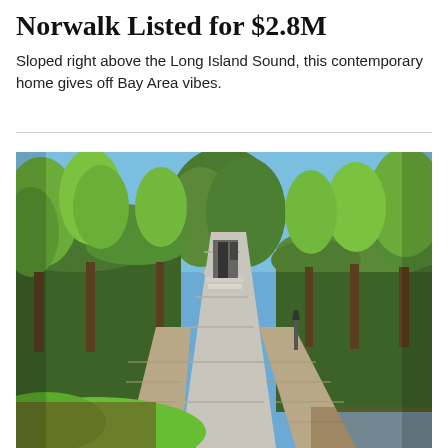Norwalk Listed for $2.8M
Sloped right above the Long Island Sound, this contemporary home gives off Bay Area vibes.
[Figure (photo): Exterior photo of a landscaped driveway/walkway lined with tall manicured hedges and trees leading to a contemporary home entrance, with green lawn visible on the left and stone retaining walls on either side of the path.]